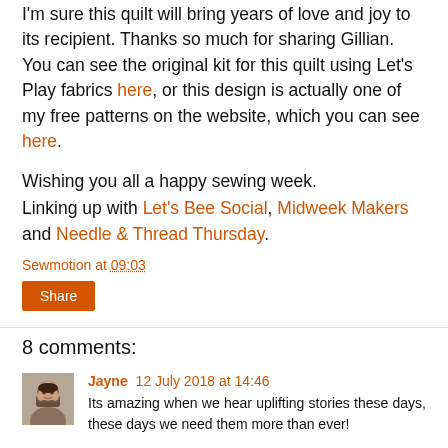I'm sure this quilt will bring years of love and joy to its recipient. Thanks so much for sharing Gillian. You can see the original kit for this quilt using Let's Play fabrics here, or this design is actually one of my free patterns on the website, which you can see here.
Wishing you all a happy sewing week.
Linking up with Let's Bee Social, Midweek Makers and Needle & Thread Thursday.
Sewmotion at 09:03
Share
8 comments:
Jayne 12 July 2018 at 14:46
Its amazing when we hear uplifting stories these days, these days we need them more than ever!